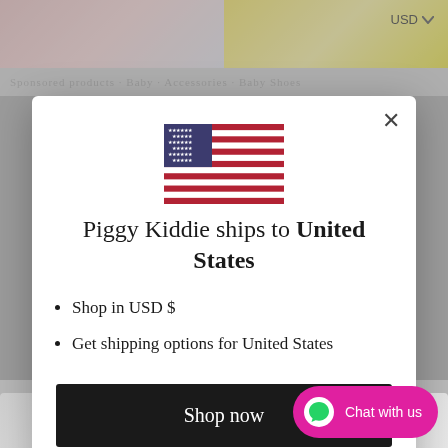[Figure (screenshot): Background showing colorful children's shoes at top, gray overlay, and white modal dialog]
[Figure (illustration): United States flag icon shown in center of modal]
Piggy Kiddie ships to United States
Shop in USD $
Get shipping options for United States
Shop now
Change shipping country
Chat with us